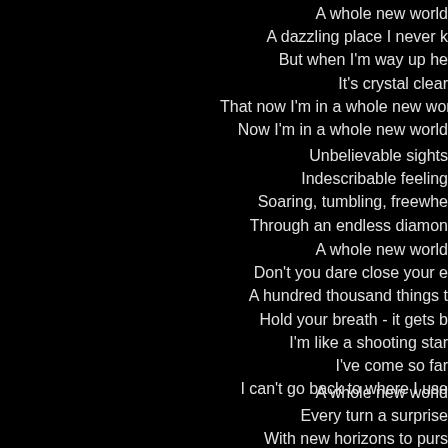A whole new world
A dazzling place I never k
But when I'm way up he
It's crystal clear
That now I'm in a whole new wor
Now I'm in a whole new world
Unbelievable sights
Indescribable feeling
Soaring, tumbling, freewhe
Through an endless diamon
A whole new world
Don't you dare close your e
A hundred thousand things t
Hold your breath - it gets b
I'm like a shooting star
I've come so far
I can't go back to where I use
A whole new world
Every turn a surprise
With new horizons to purs
Every moment red-lette
I'll chase them anywhe